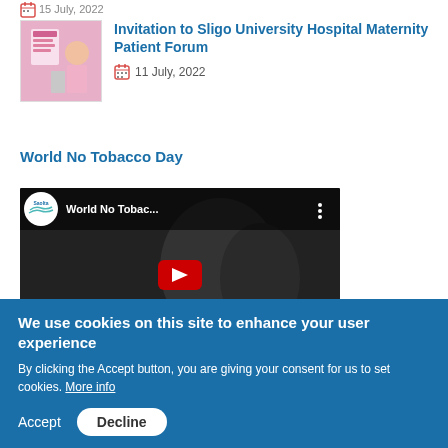15 July, 2022
[Figure (photo): Maternity Patient Forum promotional image with a person in pink]
Invitation to Sligo University Hospital Maternity Patient Forum
11 July, 2022
World No Tobacco Day
[Figure (screenshot): YouTube video thumbnail: World No Tobacco Day video from Saolta]
We use cookies on this site to enhance your user experience
By clicking the Accept button, you are giving your consent for us to set cookies. More info
Accept
Decline